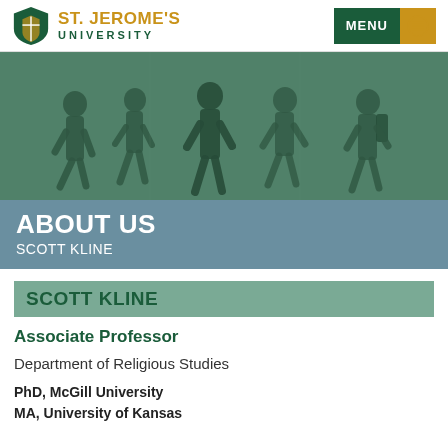ST. JEROME'S UNIVERSITY | MENU
[Figure (photo): Green-tinted photo of silhouettes of people walking in a university building corridor]
ABOUT US
SCOTT KLINE
SCOTT KLINE
Associate Professor
Department of Religious Studies
PhD, McGill University
MA, University of Kansas